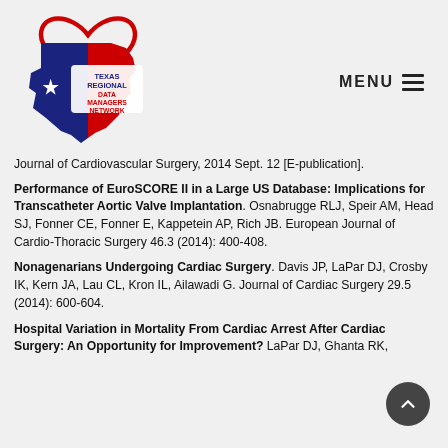[Figure (logo): Texas Regional Data Managers Network logo — Texas state shape in red, white, and blue with a heart outline and star, with organization name text]
Journal of Cardiovascular Surgery, 2014 Sept. 12 [E-publication].
Performance of EuroSCORE II in a Large US Database: Implications for Transcatheter Aortic Valve Implantation. Osnabrugge RLJ, Speir AM, Head SJ, Fonner CE, Fonner E, Kappetein AP, Rich JB. European Journal of Cardio-Thoracic Surgery 46.3 (2014): 400-408.
Nonagenarians Undergoing Cardiac Surgery. Davis JP, LaPar DJ, Crosby IK, Kern JA, Lau CL, Kron IL, Ailawadi G. Journal of Cardiac Surgery 29.5 (2014): 600-604.
Hospital Variation in Mortality From Cardiac Arrest After Cardiac Surgery: An Opportunity for Improvement? LaPar DJ, Ghanta RK,